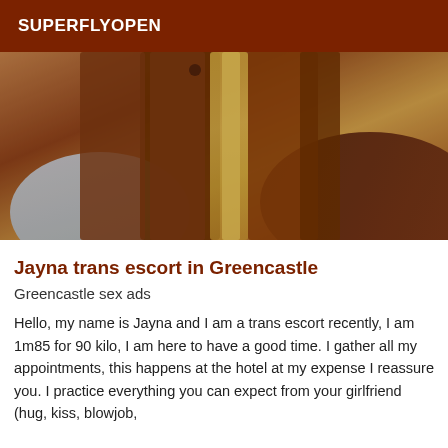SUPERFLYOPEN
[Figure (photo): Close-up photo of a person with long brown and blonde highlighted hair, wearing a light blue top and dark jacket, face not clearly visible.]
Jayna trans escort in Greencastle
Greencastle sex ads
Hello, my name is Jayna and I am a trans escort recently, I am 1m85 for 90 kilo, I am here to have a good time. I gather all my appointments, this happens at the hotel at my expense I reassure you. I practice everything you can expect from your girlfriend (hug, kiss, blowjob,